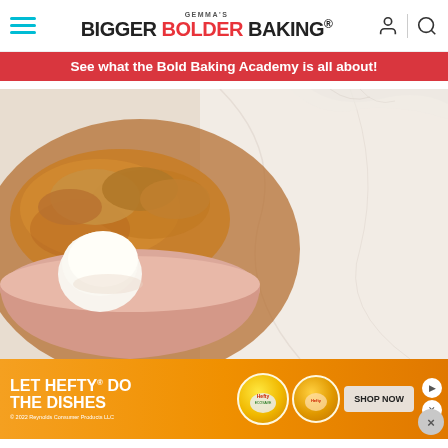Gemma's Bigger Bolder Baking
See what the Bold Baking Academy is all about!
[Figure (photo): A pink bowl filled with golden apple cobbler dessert and a scoop of whipped cream or ice cream, set on a white marble surface with a soft cloth in the background.]
[Figure (infographic): Advertisement for Hefty dishes bags: 'LET HEFTY DO THE DISHES' with product images and a 'SHOP NOW' button on an orange background. Copyright 2022 Reynolds Consumer Products LLC.]